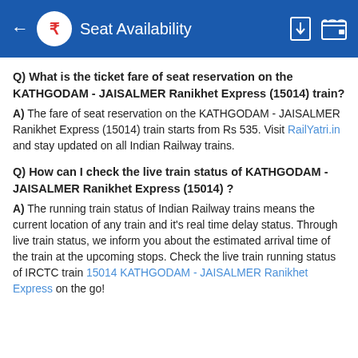Seat Availability
Q) What is the ticket fare of seat reservation on the KATHGODAM - JAISALMER Ranikhet Express (15014) train?
A) The fare of seat reservation on the KATHGODAM - JAISALMER Ranikhet Express (15014) train starts from Rs 535. Visit RailYatri.in and stay updated on all Indian Railway trains.
Q) How can I check the live train status of KATHGODAM - JAISALMER Ranikhet Express (15014) ?
A) The running train status of Indian Railway trains means the current location of any train and it's real time delay status. Through live train status, we inform you about the estimated arrival time of the train at the upcoming stops. Check the live train running status of IRCTC train 15014 KATHGODAM - JAISALMER Ranikhet Express on the go!